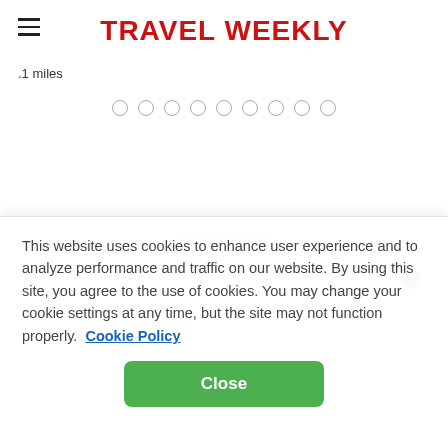TRAVEL WEEKLY
.1 miles
[Figure (other): Dot navigation carousel indicator with 9 unfilled circles]
SPONSORED
[Figure (other): Sponsored content card with circular logo placeholder and blue icon on the right]
This website uses cookies to enhance user experience and to analyze performance and traffic on our website. By using this site, you agree to the use of cookies. You may change your cookie settings at any time, but the site may not function properly.  Cookie Policy
Close